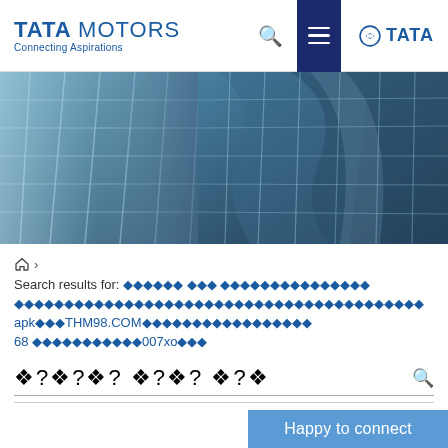TATA MOTORS Connecting Aspirations
[Figure (photo): Close-up photo of a glass and steel building facade with reflective blue-tinted panels forming a grid pattern]
🏠 >
Search results for: ◆◆◆◆◆◆ ◆◆◆ ◆◆◆◆◆◆◆◆◆◆◆◆◆◆◆◆◆◆◆◆◆◆◆◆◆◆◆◆◆◆◆◆◆◆◆◆◆◆◆◆◆◆◆◆◆◆◆◆◆◆◆◆◆◆◆◆◆◆◆◆◆◆◆◆apk◆◆◆THM98.COM◆◆◆◆◆◆◆◆◆◆◆◆◆◆◆◆◆68 ◆◆◆◆◆◆◆◆◆◆◆007xo◆◆◆
[Figure (other): Large garbled/corrupted diamond question mark characters forming a search input bar]
Happy to connect